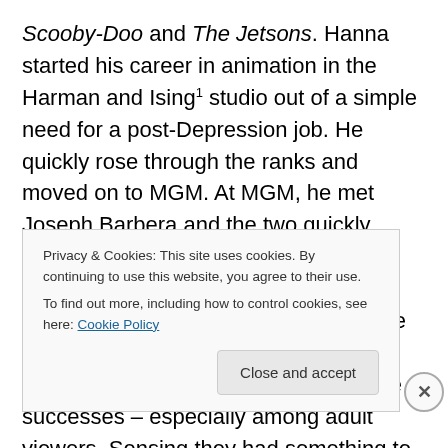Scooby-Doo and The Jetsons. Hanna started his career in animation in the Harman and Ising¹ studio out of a simple need for a post-Depression job. He quickly rose through the ranks and moved on to MGM. At MGM, he met Joseph Barbera and the two quickly teamed up and started a 60 year partnership. Hanna-Barbera's early success with the classic cat and mouse series Tom and Jerry (which won 7 Academy Awards) led to more an more successes – especially among adult viewers. Sensing they had something to offer, they forayed into prime time television with a spoof of The Honeymooners called The
Privacy & Cookies: This site uses cookies. By continuing to use this website, you agree to their use.
To find out more, including how to control cookies, see here: Cookie Policy